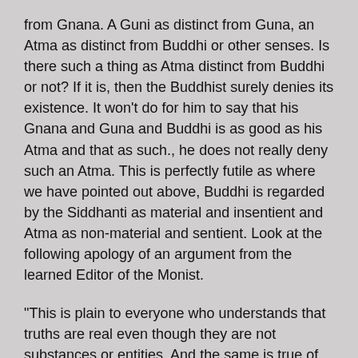from Gnana. A Guni as distinct from Guna, an Atma as distinct from Buddhi or other senses. Is there such a thing as Atma distinct from Buddhi or not? If it is, then the Buddhist surely denies its existence. It won't do for him to say that his Gnana and Guna and Buddhi is as good as his Atma and that as such., he does not really deny such an Atma. This is perfectly futile as where we have pointed out above, Buddhi is regarded by the Siddhanti as material and insentient and Atma as non-material and sentient. Look at the following apology of an argument from the learned Editor of the Monist.
"This is plain to everyone who understands that truths are real even though they are not substances or entities. And the same is true of the soul. To deny that Volition, Cognition, and other mental or metaphysical subject, is not a denial of their existence - it is simply the consistent consequence of the community acknoledged truth that they are not material."